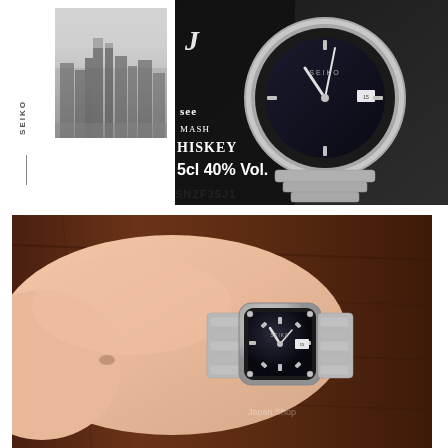[Figure (photo): Black and white photo of a foggy city skyline with tall buildings]
[Figure (photo): Seiko SNZF35J1 watch with black dial and steel bracelet, displayed next to a bottle of whiskey labeled 'MASH WHISKEY 5cl 40% Vol.']
SEIKO
SNZF35J1
[Figure (photo): Close-up photo of a person's wrist wearing the Seiko SNZF35J1 silver watch with black dial, on a wooden table background]